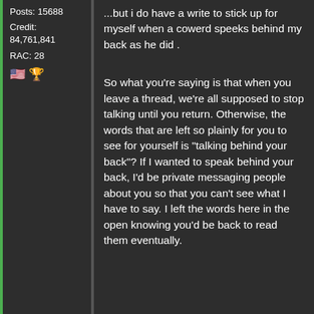Posts: 15688
Credit: 84,761,841
RAC: 28
...but i do have a write to stick up for myself when a cowerd speeks behind my back as he did .
So what you're saying is that when you leave a thread, we're all supposed to stop talking until you return. Otherwise, the words that are left so plainly for you to see for yourself is "talking behind your back"? If I wanted to speak behind your back, I'd be private messaging people about you so that you can't see what I have to say. I left the words here in the open knowing you'd be back to read them eventually.